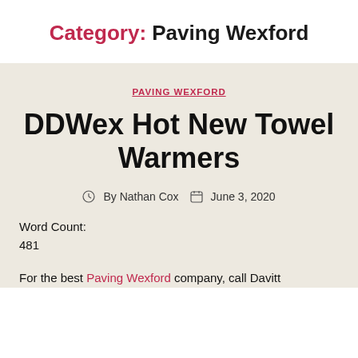Category: Paving Wexford
PAVING WEXFORD
DDWex Hot New Towel Warmers
By Nathan Cox  June 3, 2020
Word Count:
481
For the best Paving Wexford company, call Davitt